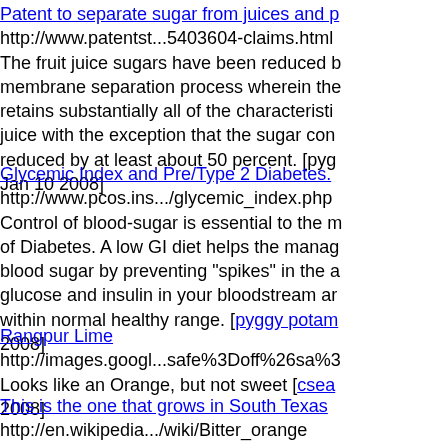Patent to separate sugar from juices and p...
http://www.patentst...5403604-claims.html
The fruit juice sugars have been reduced by a membrane separation process wherein the retains substantially all of the characteristics juice with the exception that the sugar con reduced by at least about 50 percent. [pyg Jan 10 2008]
Glycemic Index and Pre/Type 2 Diabetes.
http://www.pcos.ins.../glycemic_index.php
Control of blood-sugar is essential to the management of Diabetes. A low GI diet helps the management of blood sugar by preventing "spikes" in the amount of glucose and insulin in your bloodstream and keeping within normal healthy range. [pyggy potam 2008]
Rangpur Lime
http://images.googl...safe%3Doff%26sa%3...
Looks like an Orange, but not sweet [csea 2008]
This is the one that grows in South Texas...
http://en.wikipedia.../wiki/Bitter_orange
Bitter Orange on Wikipedia [gtoal, Jan 28 ...]